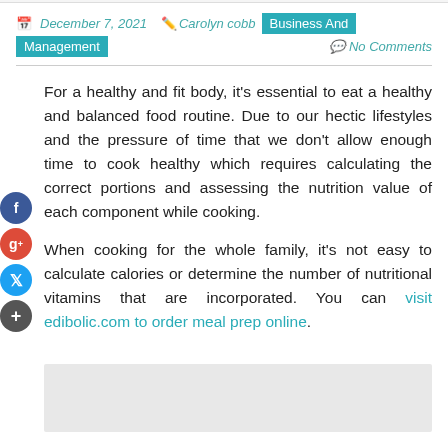December 7, 2021   Carolyn cobb   Business And Management   No Comments
For a healthy and fit body, it's essential to eat a healthy and balanced food routine. Due to our hectic lifestyles and the pressure of time that we don't allow enough time to cook healthy which requires calculating the correct portions and assessing the nutrition value of each component while cooking.
When cooking for the whole family, it's not easy to calculate calories or determine the number of nutritional vitamins that are incorporated. You can visit edibolic.com to order meal prep online.
[Figure (photo): Light gray rectangular image placeholder at the bottom of the page]